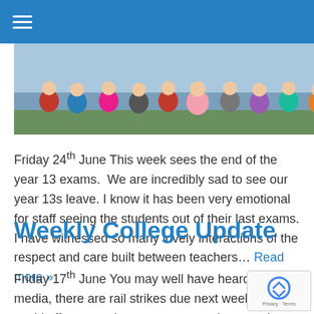≡ (hamburger menu)
[Figure (photo): Group photo of students seated outdoors, wearing colorful clothing]
Friday 24th June This week sees the end of the year 13 exams.  We are incredibly sad to see our year 13s leave. I know it has been very emotional for staff seeing the students out of their last exams. I have witnessed so many lovely interactions of the respect and care built between teachers… Read more »
Weekly College Update
Friday 17th June You may well have heard in the media, there are rail strikes due next week which could affect attendance to exams or lessons; I have the following details from the rail company to share with you; South...